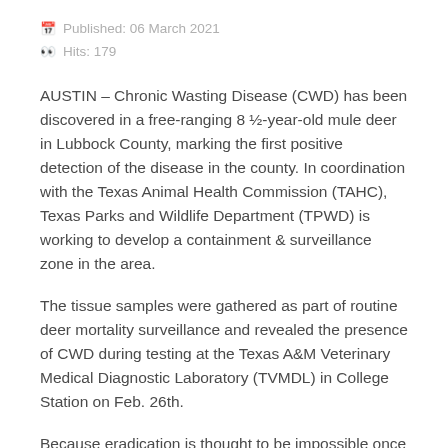Published: 06 March 2021
Hits: 179
AUSTIN – Chronic Wasting Disease (CWD) has been discovered in a free-ranging 8 ½-year-old mule deer in Lubbock County, marking the first positive detection of the disease in the county. In coordination with the Texas Animal Health Commission (TAHC), Texas Parks and Wildlife Department (TPWD) is working to develop a containment & surveillance zone in the area.
The tissue samples were gathered as part of routine deer mortality surveillance and revealed the presence of CWD during testing at the Texas A&M Veterinary Medical Diagnostic Laboratory (TVMDL) in College Station on Feb. 26th.
Because eradication is thought to be impossible once CWD becomes established in a population, it is imperative that TPWD works with local resources to...